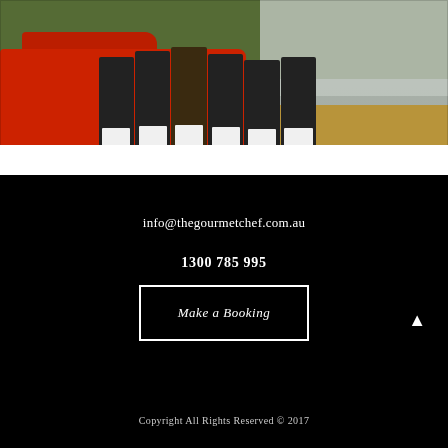[Figure (photo): Six catering staff in black uniforms with white aprons standing in front of a red vintage pickup truck, outdoors with green foliage and a tent/marquee in the background.]
info@thegourmetchef.com.au
1300 785 995
Make a Booking
Copyright All Rights Reserved © 2017